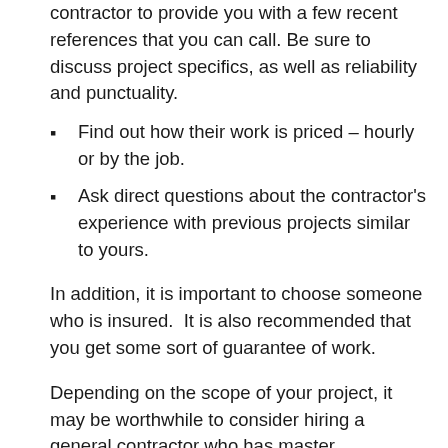contractor to provide you with a few recent references that you can call. Be sure to discuss project specifics, as well as reliability and punctuality.
Find out how their work is priced – hourly or by the job.
Ask direct questions about the contractor's experience with previous projects similar to yours.
In addition, it is important to choose someone who is insured.  It is also recommended that you get some sort of guarantee of work.
Depending on the scope of your project, it may be worthwhile to consider hiring a general contractor who has master carpenters, painters, plumbers, electricians, aboard.  It may cost you a little more, but it will guarantee that the job is done right the first time